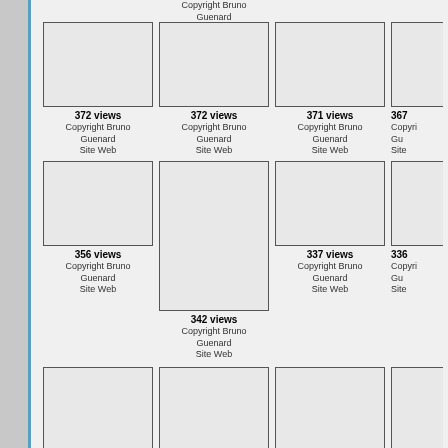Copyright Bruno Guenard Site Web
[Figure (photo): Thumbnail image placeholder]
372 views
Copyright Bruno Guenard
Site Web
[Figure (photo): Thumbnail image placeholder]
372 views
Copyright Bruno Guenard
Site Web
[Figure (photo): Thumbnail image placeholder]
371 views
Copyright Bruno Guenard
Site Web
367
Copyright Bruno Gu
Site
[Figure (photo): Thumbnail image placeholder]
356 views
Copyright Bruno Guenard
Site Web
[Figure (photo): Thumbnail image placeholder]
342 views
Copyright Bruno Guenard
Site Web
[Figure (photo): Thumbnail image placeholder]
337 views
Copyright Bruno Guenard
Site Web
336
Copyright Gu
Site
[Figure (photo): Thumbnail image placeholder]
332 views
Copyright Bruno
[Figure (photo): Thumbnail image placeholder]
330 views
Copyright Bruno Guenard
[Figure (photo): Thumbnail image placeholder]
329 views
Copyright Bruno
322
Copyright